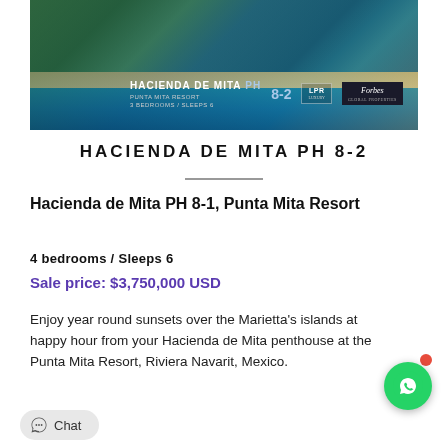[Figure (photo): Aerial photo of Hacienda de Mita resort at Punta Mita with text overlay showing 'HACIENDA DE MITA PH 8-2', LPR Luxury badge, and Forbes badge]
HACIENDA DE MITA PH 8-2
Hacienda de Mita PH 8-1, Punta Mita Resort
4 bedrooms / Sleeps 6
Sale price: $3,750,000 USD
Enjoy year round sunsets over the Marietta's islands at happy hour from your Hacienda de Mita penthouse at the Punta Mita Resort, Riviera Navarit, Mexico.